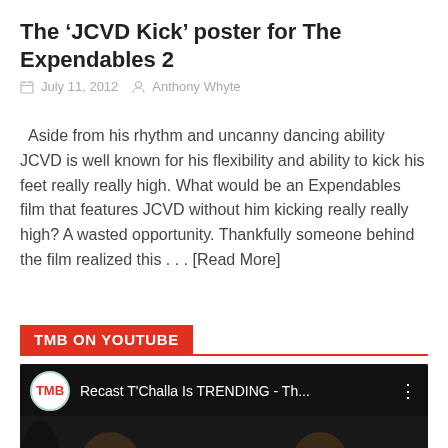The ‘JCVD Kick’ poster for The Expendables 2
July 11, 2012   Anthony Whyte
Aside from his rhythm and uncanny dancing ability JCVD is well known for his flexibility and ability to kick his feet really really high. What would be an Expendables film that features JCVD without him kicking really really high? A wasted opportunity. Thankfully someone behind the film realized this . . . [Read More]
TMB ON YOUTUBE
[Figure (screenshot): YouTube video thumbnail showing TMB logo circle with text 'Recast T'Challa Is TRENDING - Th...' and two people laughing/reacting]